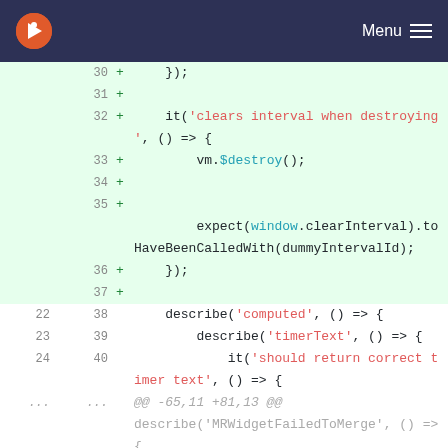Menu
[Figure (screenshot): Code diff view showing added lines (green background) for a JavaScript test file. Lines 30-37 are additions (+), then lines 22-24/38-40 show unchanged context with describe and it blocks for 'computed' and 'timerText'. A hunk header @@ -65,11 +81,13 @@ is visible, followed by lines 65-66/81-82.]